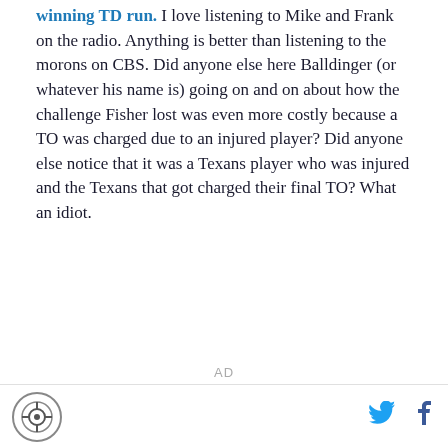winning TD run.  I love listening to Mike and Frank on the radio.  Anything is better than listening to the morons on CBS.  Did anyone else here Balldinger (or whatever his name is) going on and on about how the challenge Fisher lost was even more costly because a TO was charged due to an injured player?  Did anyone else notice that it was a Texans player who was injured and the Texans that got charged their final TO?  What an idiot.
AD